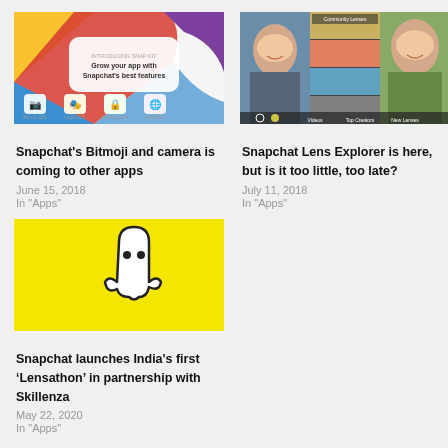[Figure (screenshot): Snapchat app promotional banner showing Bitmoji and camera features with colorful icons]
Snapchat's Bitmoji and camera is coming to other apps
June 15, 2018
In "Apps"
[Figure (photo): Snapchat Lens Explorer interface showing women with various lens filters applied]
Snapchat Lens Explorer is here, but is it too little, too late?
July 11, 2018
In "Apps"
[Figure (screenshot): Yellow Snapchat background with white ghost logo/icon]
Snapchat launches India's first ‘Lensathon’ in partnership with Skillenza
May 22, 2020
In "Apps"